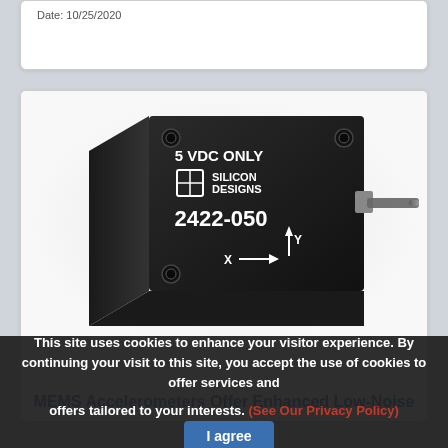Date: 10/25/2020
[Figure (photo): Silicon Designs MEMS accelerometer model 2422-050, a small black cube with white text reading '5 VDC ONLY', 'SILICON DESIGNS', '2422-050', with X and Y axis arrows, and a cable attached.]
MEMS Accelerometers Offer Enhanced Low-Noise
This site uses cookies to enhance your visitor experience. By continuing your visit to this site, you accept the use of cookies to offer services and offers tailored to your interests. (See Our Privacy Policy)